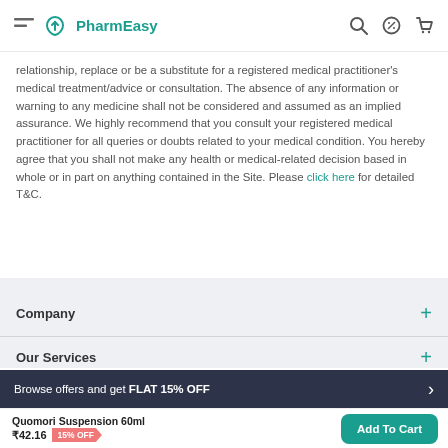PharmEasy
relationship, replace or be a substitute for a registered medical practitioner's medical treatment/advice or consultation. The absence of any information or warning to any medicine shall not be considered and assumed as an implied assurance. We highly recommend that you consult your registered medical practitioner for all queries or doubts related to your medical condition. You hereby agree that you shall not make any health or medical-related decision based in whole or in part on anything contained in the Site. Please click here for detailed T&C.
Company
Our Services
Browse offers and get FLAT 15% OFF
Quomori Suspension 60ml ₹42.16 15% OFF Add To Cart